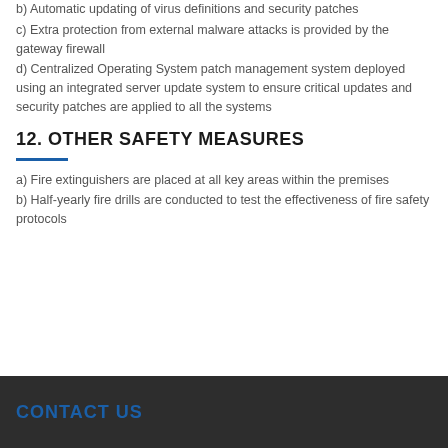b) Automatic updating of virus definitions and security patches
c) Extra protection from external malware attacks is provided by the gateway firewall
d) Centralized Operating System patch management system deployed using an integrated server update system to ensure critical updates and security patches are applied to all the systems
12. OTHER SAFETY MEASURES
a) Fire extinguishers are placed at all key areas within the premises
b) Half-yearly fire drills are conducted to test the effectiveness of fire safety protocols
CONTACT US